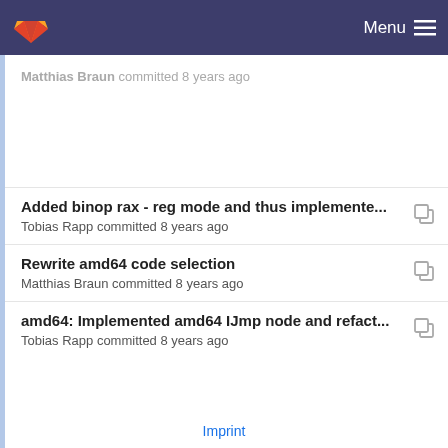GitLab — Menu
Matthias Braun committed 8 years ago
Added binop rax - reg mode and thus implemente... Tobias Rapp committed 8 years ago
Rewrite amd64 code selection — Matthias Braun committed 8 years ago
amd64: Implemented amd64 IJmp node and refact... — Tobias Rapp committed 8 years ago
Imprint